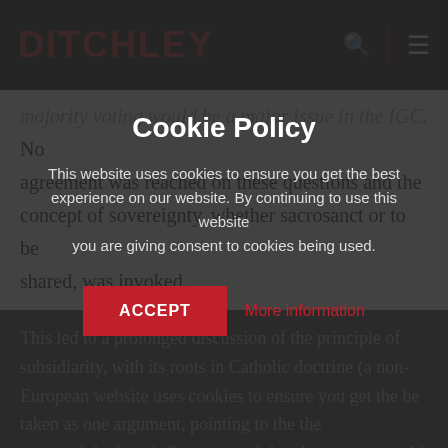DITCHLEY
majority voting would be a major issue in the IGC. No agreement was reached on these questions and the concept of sovereignty, whether sacrosanct or to be shared, was invoked.
This led to a prolonged discussion of the principle of subsidiarity, with its roots in Catholic doctrine (a non-European website uses cookies to ensure you get the best experience on our website. By continuing to use this website taken as one argument, pointing be taken as consent to cookies being used. the nature of the issue). Some argued that the concept could not be reduced to a simple formula, and that it
Cookie Policy
This website uses cookies to ensure you get the best experience on our website. By continuing to use this website you are giving consent to cookies being used.
ACCEPT
More information